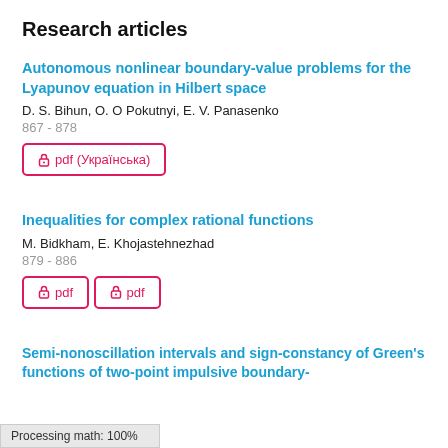Research articles
Autonomous nonlinear boundary-value problems for the Lyapunov equation in Hilbert space
D. S. Bihun, O. O Pokutnyi, E. V. Panasenko
867 - 878
pdf (Українська)
Inequalities for complex rational functions
M. Bidkham, E. Khojastehnezhad
879 - 886
pdf  pdf
Semi-nonoscillation intervals and sign-constancy of Green's functions of two-point impulsive boundary-
Processing math: 100%